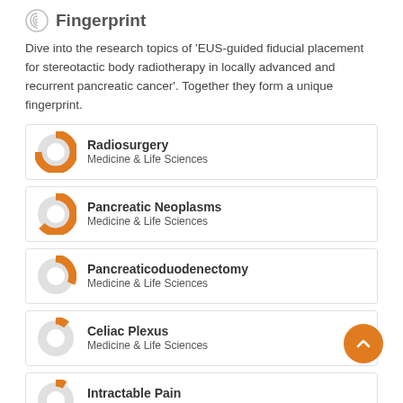Fingerprint
Dive into the research topics of 'EUS-guided fiducial placement for stereotactic body radiotherapy in locally advanced and recurrent pancreatic cancer'. Together they form a unique fingerprint.
Radiosurgery — Medicine & Life Sciences
Pancreatic Neoplasms — Medicine & Life Sciences
Pancreaticoduodenectomy — Medicine & Life Sciences
Celiac Plexus — Medicine & Life Sciences
Intractable Pain — Medicine & Life Sciences